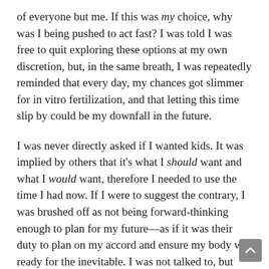of everyone but me. If this was my choice, why was I being pushed to act fast? I was told I was free to quit exploring these options at my own discretion, but, in the same breath, I was repeatedly reminded that every day, my chances got slimmer for in vitro fertilization, and that letting this time slip by could be my downfall in the future.
I was never directly asked if I wanted kids. It was implied by others that it's what I should want and what I would want, therefore I needed to use the time I had now. If I were to suggest the contrary, I was brushed off as not being forward-thinking enough to plan for my future—as if it was their duty to plan on my accord and ensure my body was ready for the inevitable. I was not talked to, but rather talked at. The topic of conversation almost always revolved around these so-called “choices” that everyone wanted to remind me of in between discussions of drug side effects and ovarian hyperstimulation syndrome. Nothing felt like my choice. I had to